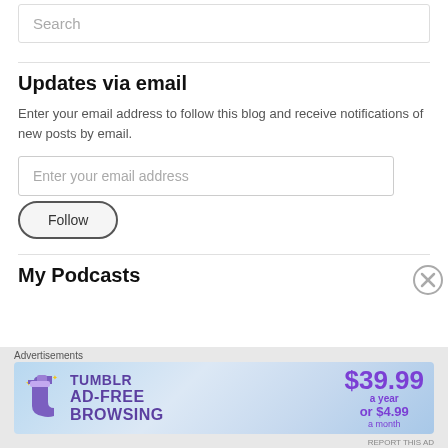Search
Updates via email
Enter your email address to follow this blog and receive notifications of new posts by email.
Enter your email address
Follow
My Podcasts
Advertisements
[Figure (illustration): Tumblr AD-FREE BROWSING advertisement banner showing $39.99 a year or $4.99 a month pricing]
REPORT THIS AD